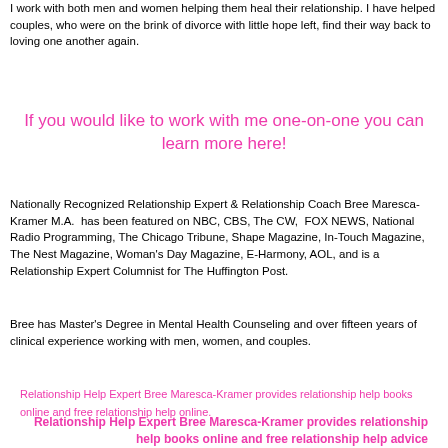I work with both men and women helping them heal their relationship. I have helped couples, who were on the brink of divorce with little hope left, find their way back to loving one another again.
If you would like to work with me one-on-one you can learn more here!
Nationally Recognized Relationship Expert & Relationship Coach Bree Maresca-Kramer M.A.  has been featured on NBC, CBS, The CW,  FOX NEWS, National Radio Programming, The Chicago Tribune, Shape Magazine, In-Touch Magazine, The Nest Magazine, Woman's Day Magazine, E-Harmony, AOL, and is a Relationship Expert Columnist for The Huffington Post.
Bree has Master's Degree in Mental Health Counseling and over fifteen years of clinical experience working with men, women, and couples.
[Figure (other): Broken image placeholder for Relationship Help Expert Bree Maresca-Kramer provides relationship help books online and free relationship help online.]
Relationship Help Expert Bree Maresca-Kramer provides relationship help books online and free relationship help advice